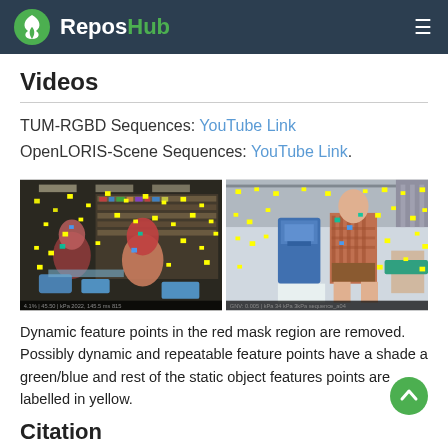ReposHub
Videos
TUM-RGBD Sequences: YouTube Link
OpenLORIS-Scene Sequences: YouTube Link.
[Figure (photo): Two side-by-side video frames showing indoor scenes with people, overlaid with colored feature points (yellow, green, blue). Left frame shows a library/classroom scene. Right frame shows a lab/workshop scene with a person walking.]
Dynamic feature points in the red mask region are removed. Possibly dynamic and repeatable feature points have a shade a green/blue and rest of the static object features points are labelled in yellow.
Citation